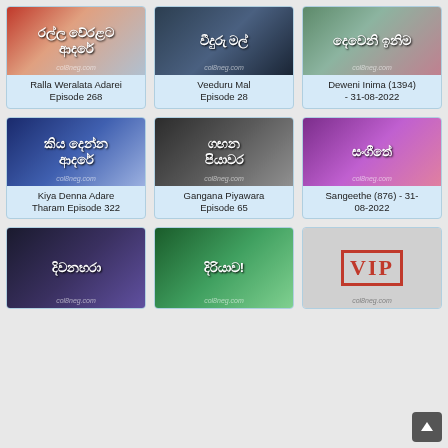[Figure (screenshot): Ralla Weralata Adarei thumbnail with Sinhala text]
Ralla Weralata Adarei Episode 268
[Figure (screenshot): Veeduru Mal thumbnail with Sinhala text]
Veeduru Mal Episode 28
[Figure (screenshot): Deweni Inima thumbnail with Sinhala text]
Deweni Inima (1394) - 31-08-2022
[Figure (screenshot): Kiya Denna Adare Tharam thumbnail with Sinhala text]
Kiya Denna Adare Tharam Episode 322
[Figure (screenshot): Gangana Piyawara thumbnail with Sinhala text]
Gangana Piyawara Episode 65
[Figure (screenshot): Sangeethe thumbnail with stage lights]
Sangeethe (876) - 31-08-2022
[Figure (screenshot): Third row first thumbnail with Sinhala text]
[Figure (screenshot): Third row middle thumbnail with Sinhala text]
[Figure (screenshot): VIP thumbnail with red stamp text]